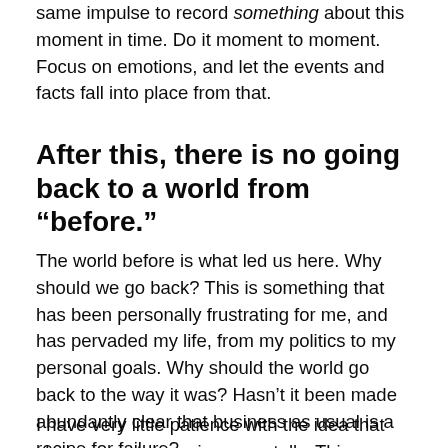same impulse to record something about this moment in time. Do it moment to moment. Focus on emotions, and let the events and facts fall into place from that.
After this, there is no going back to a world from “before.”
The world before is what led us here. Why should we go back? This is something that has been personally frustrating for me, and has pervaded my life, from my politics to my personal goals. Why should the world go back to the way it was? Hasn’t it been made abundantly clear that business as usual is a recipe for failure?
I have very little patience with the idea that change must come incrementally. This pandemic